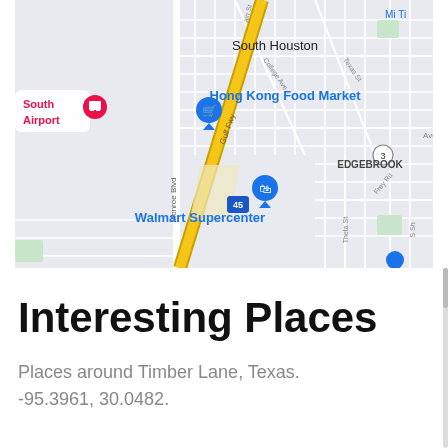[Figure (map): Google Maps screenshot showing South Houston area in Texas. Features Gulf Fwy (I-45) running diagonally, with labeled locations including South Airport (with hotel icon, pink), Hong Kong Food Market (blue shopping cart marker), Walmart Supercenter (blue shopping bag marker), South Houston label, EDGEBROOK neighborhood label, Monroe Blvd, College Ave, Texas St, Theta St, Frey Rd, and route marker for highway 45.]
Interesting Places
Places around Timber Lane, Texas. -95.3961, 30.0482.